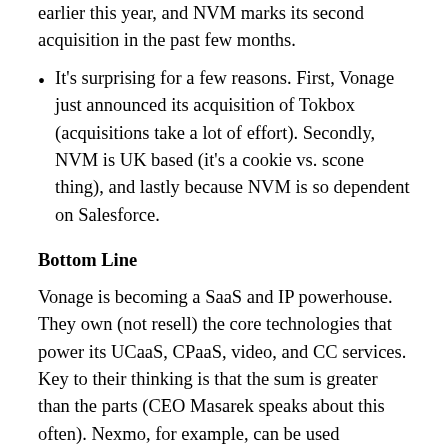earlier this year, and NVM marks its second acquisition in the past few months.
It's surprising for a few reasons. First, Vonage just announced its acquisition of Tokbox (acquisitions take a lot of effort). Secondly, NVM is UK based (it's a cookie vs. scone thing), and lastly because NVM is so dependent on Salesforce.
Bottom Line
Vonage is becoming a SaaS and IP powerhouse. They own (not resell) the core technologies that power its UCaaS, CPaaS, video, and CC services. Key to their thinking is that the sum is greater than the parts (CEO Masarek speaks about this often). Nexmo, for example, can be used independently to strengthen (or create) applications or to expand/customize the Vonage applications.